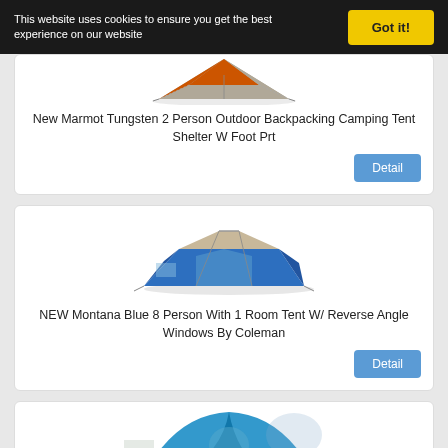This website uses cookies to ensure you get the best experience on our website
Got it!
[Figure (photo): Orange and gray Marmot Tungsten 2 person tent, partially visible at top of card]
New Marmot Tungsten 2 Person Outdoor Backpacking Camping Tent Shelter W Foot Prt
Detail
[Figure (photo): Blue and gray Montana 8 person tent by Coleman with reverse angle windows]
NEW Montana Blue 8 Person With 1 Room Tent W/ Reverse Angle Windows By Coleman
Detail
[Figure (photo): Blue tent partially visible at bottom of page]